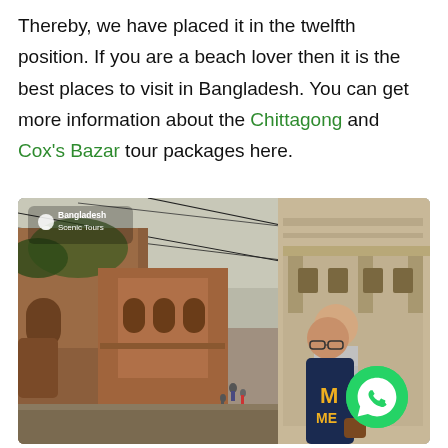Thereby, we have placed it in the twelfth position. If you are a beach lover then it is the best places to visit in Bangladesh. You can get more information about the Chittagong and Cox's Bazar tour packages here.
[Figure (photo): Two tourists, a man and a woman, posing on a balcony overlooking a historic brick street scene in Bangladesh. The woman wears a dark blue Michigan sweatshirt. A watermark reads 'Bangladesh Scenic Tours'. A WhatsApp button appears in the bottom-right corner.]